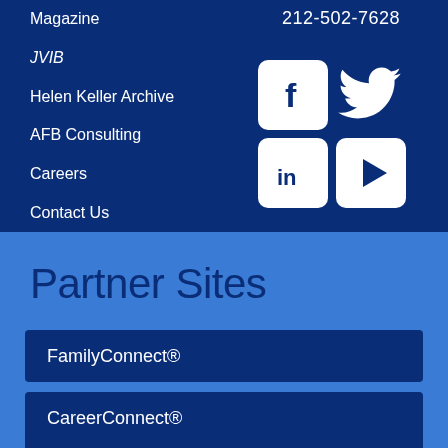Magazine
212-502-7628
JVIB
Helen Keller Archive
AFB Consulting
[Figure (infographic): Social media icons: Facebook, Twitter, LinkedIn, YouTube]
Careers
Contact Us
Partner Sites
FamilyConnect®
CareerConnect®
VisionAware™